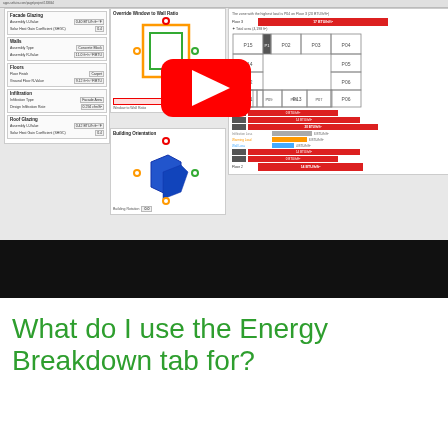[Figure (screenshot): Screenshot of a web application (apps.sefaira.com) showing an energy analysis interface with panels for Facade Glazing, Walls, Floors, Infiltration, Roof Glazing settings on the left; Override Window to Wall Ratio diagram and Building Orientation map in the center; and an energy breakdown panel with floor plans and bar charts on the right. A YouTube video player overlay with red play button is visible in the center of the screenshot. A black video progress bar is below the screenshot area.]
What do I use the Energy Breakdown tab for?